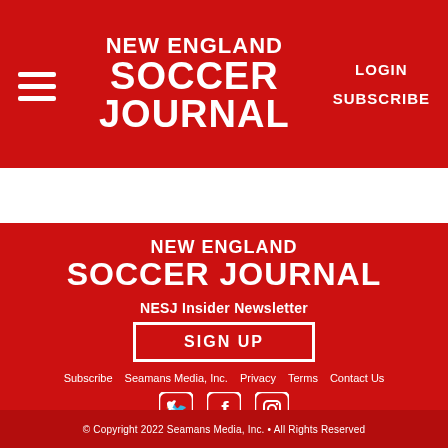NEW ENGLAND SOCCER JOURNAL | LOGIN | SUBSCRIBE
[Figure (logo): New England Soccer Journal footer logo on red background]
NESJ Insider Newsletter
SIGN UP
Subscribe  Seamans Media, Inc.  Privacy  Terms  Contact Us
[Figure (illustration): Twitter, Facebook, and Instagram social media icons in white on red background]
© Copyright 2022 Seamans Media, Inc. • All Rights Reserved